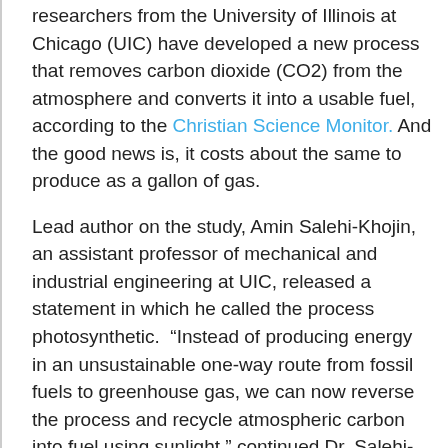researchers from the University of Illinois at Chicago (UIC) have developed a new process that removes carbon dioxide (CO2) from the atmosphere and converts it into a usable fuel, according to the Christian Science Monitor. And the good news is, it costs about the same to produce as a gallon of gas.
Lead author on the study, Amin Salehi-Khojin, an assistant professor of mechanical and industrial engineering at UIC, released a statement in which he called the process photosynthetic.  "Instead of producing energy in an unsustainable one-way route from fossil fuels to greenhouse gas, we can now reverse the process and recycle atmospheric carbon into fuel using sunlight," continued Dr. Salehi-Khojin.  The researchers said the finding may